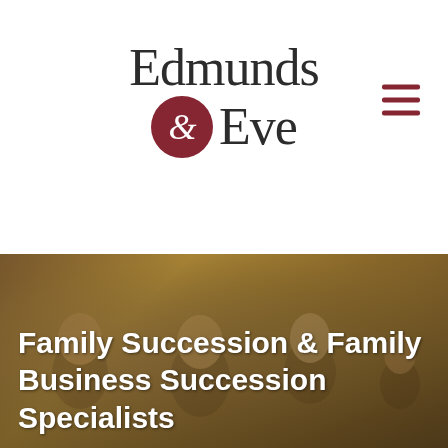[Figure (logo): Edmunds & Eve logo — two-line wordmark with dark grey serif text 'Edmunds' on top, then a dark red circle containing italic ampersand '&' followed by 'Eve' in dark grey serif text. Hamburger menu icon (three dark red horizontal bars) at top right.]
Home
[Figure (photo): Hero image showing a multi-generational family smiling outdoors with warm bokeh background. Overlaid white bold text reads: Family Succession & Family Business Succession Specialists]
Family Succession & Family Business Succession Specialists